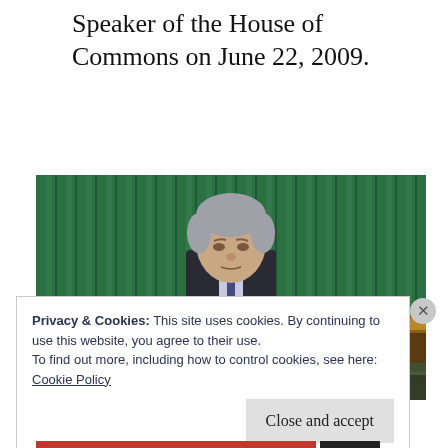Speaker of the House of Commons on June 22, 2009.
[Figure (photo): A man with grey hair seated at the Speaker's chair in the House of Commons chamber, with distinctive green leather bench backs behind him and ornate woodwork paneling visible.]
Privacy & Cookies: This site uses cookies. By continuing to use this website, you agree to their use.
To find out more, including how to control cookies, see here:
Cookie Policy
Close and accept